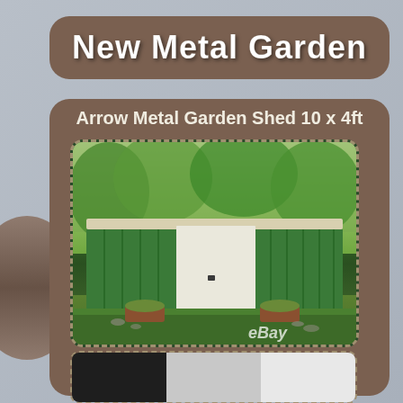New Metal Garden
Arrow Metal Garden Shed 10 x 4ft
[Figure (photo): A green metal garden shed (Arrow brand, 10x4ft) with a white sliding door, two terracotta pots with green plants, sitting on a grass lawn with trees in background. eBay watermark in bottom right.]
[Figure (photo): Color swatches showing dark/black, light grey, and white finish options for the metal shed.]